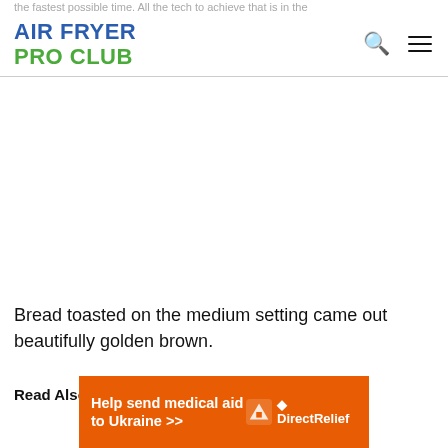AIR FRYER PRO CLUB
[Figure (photo): Large white/blank advertisement or image area]
Bread toasted on the medium setting came out beautifully golden brown.
Read Also: Best Heat Resistant Mat For Air Fr…
[Figure (other): Orange banner advertisement: Help send medical aid to Ukraine >> DirectRelief logo]